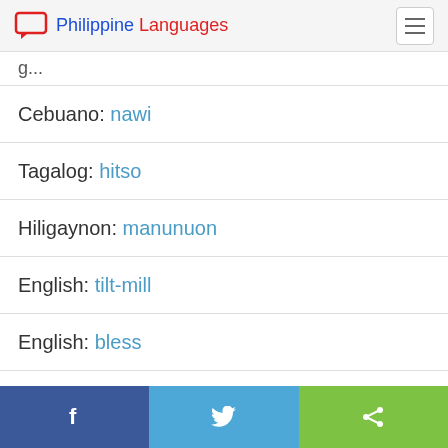Philippine Languages
g...
Cebuano: nawi
Tagalog: hitso
Hiligaynon: manunuon
English: tilt-mill
English: bless
English: furcular
Share buttons: Facebook, Twitter, Share